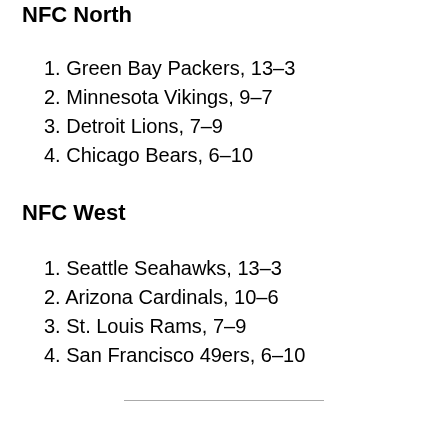NFC North
1. Green Bay Packers, 13-3
2. Minnesota Vikings, 9-7
3. Detroit Lions, 7-9
4. Chicago Bears, 6-10
NFC West
1. Seattle Seahawks, 13-3
2. Arizona Cardinals, 10-6
3. St. Louis Rams, 7-9
4. San Francisco 49ers, 6-10